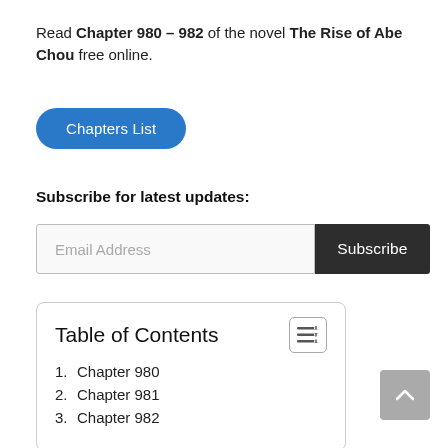Read Chapter 980 – 982 of the novel The Rise of Abe Chou free online.
Chapters List
Subscribe for latest updates:
Email Address
Subscribe
| 1. | Chapter 980 |
| 2. | Chapter 981 |
| 3. | Chapter 982 |